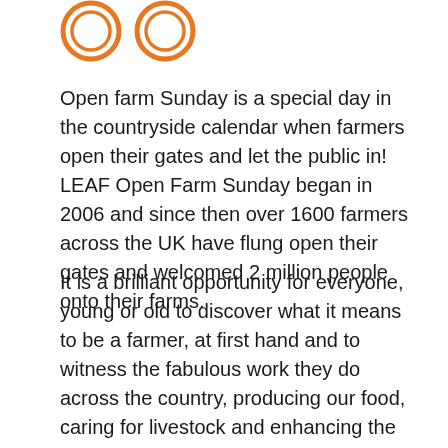[Figure (logo): Two orange circular logo marks (LEAF Open Farm Sunday logos) partially visible at the top of the page]
Open farm Sunday is a special day in the countryside calendar when farmers open their gates and let the public in! LEAF Open Farm Sunday began in 2006 and since then over 1600 farmers across the UK have flung open their gates and welcomed 2 million people onto their farms.
It is a brilliant opportunity for everyone, young or old to discover what it means to be a farmer, at first hand and to witness the fabulous work they do across the country, producing our food, caring for livestock and enhancing the countryside with all the goods and services our farmers provide.